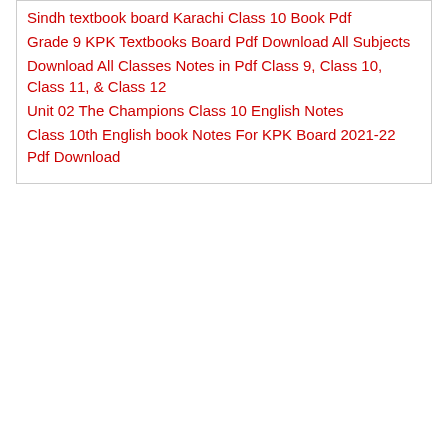Sindh textbook board Karachi Class 10 Book Pdf
Grade 9 KPK Textbooks Board Pdf Download All Subjects
Download All Classes Notes in Pdf Class 9, Class 10, Class 11, & Class 12
Unit 02 The Champions Class 10 English Notes
Class 10th English book Notes For KPK Board 2021-22 Pdf Download